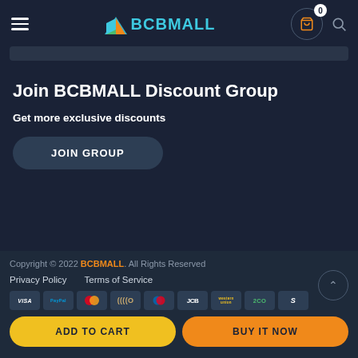[Figure (logo): BCBMALL logo with colorful triangle icon and teal text, hamburger menu, cart icon with badge showing 0, and search icon in dark header]
[Figure (other): Dark grey search bar area]
Join BCBMALL Discount Group
Get more exclusive discounts
JOIN GROUP
Copyright © 2022 BCBMALL. All Rights Reserved
Privacy Policy   Terms of Service
[Payment icons: VISA, PayPal, Mastercard, JCB, Maestro, JCB, Western Union, 2CO, Switch]
ADD TO CART   BUY IT NOW